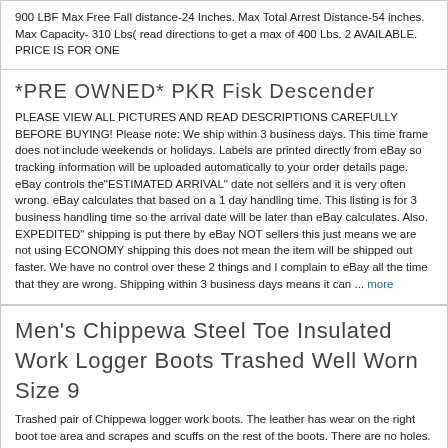900 LBF Max Free Fall distance-24 Inches. Max Total Arrest Distance-54 inches. Max Capacity- 310 Lbs( read directions to get a max of 400 Lbs. 2 AVAILABLE. PRICE IS FOR ONE
*PRE OWNED* PKR Fisk Descender
PLEASE VIEW ALL PICTURES AND READ DESCRIPTIONS CAREFULLY BEFORE BUYING! Please note: We ship within 3 business days. This time frame does not include weekends or holidays. Labels are printed directly from eBay so tracking information will be uploaded automatically to your order details page. eBay controls the"ESTIMATED ARRIVAL" date not sellers and it is very often wrong. eBay calculates that based on a 1 day handling time. This listing is for 3 business handling time so the arrival date will be later than eBay calculates. Also. EXPEDITED" shipping is put there by eBay NOT sellers this just means we are not using ECONOMY shipping this does not mean the item will be shipped out faster. We have no control over these 2 things and I complain to eBay all the time that they are wrong. Shipping within 3 business days means it can ... more
Men's Chippewa Steel Toe Insulated Work Logger Boots Trashed Well Worn Size 9
Trashed pair of Chippewa logger work boots. The leather has wear on the right boot toe area and scrapes and scuffs on the rest of the boots. There are no holes. Rips or tears however. The right boots has been caulked on the inner sole as seen in pics. The laces do need to be replaced but will work and the insoles are original. They do have